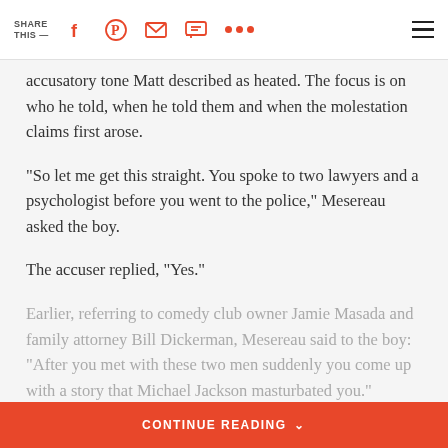SHARE THIS —
accusatory tone Matt described as heated. The focus is on who he told, when he told them and when the molestation claims first arose.
"So let me get this straight. You spoke to two lawyers and a psychologist before you went to the police," Mesereau asked the boy.
The accuser replied, "Yes."
Earlier, referring to comedy club owner Jamie Masada and family attorney Bill Dickerman, Mesereau said to the boy: "After you met with these two men suddenly you come up with a story that Michael Jackson masturbated you."
CONTINUE READING